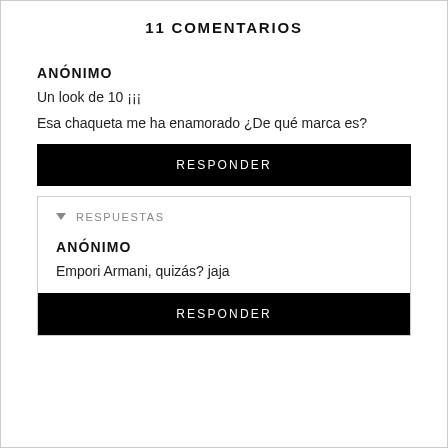11 COMENTARIOS
ANÓNIMO
Un look de 10 ¡¡¡
Esa chaqueta me ha enamorado ¿De qué marca es?
RESPONDER
RESPUESTAS
ANÓNIMO
Empori Armani, quizás? jaja
RESPONDER